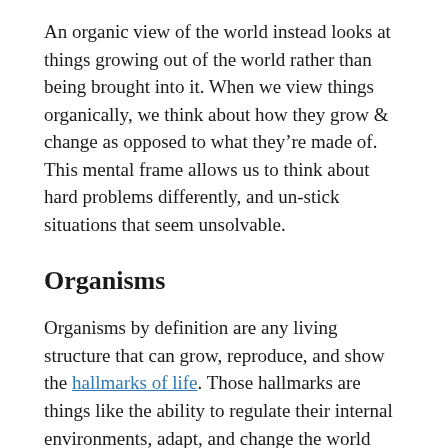An organic view of the world instead looks at things growing out of the world rather than being brought into it. When we view things organically, we think about how they grow & change as opposed to what they're made of. This mental frame allows us to think about hard problems differently, and un-stick situations that seem unsolvable.
Organisms
Organisms by definition are any living structure that can grow, reproduce, and show the hallmarks of life. Those hallmarks are things like the ability to regulate their internal environments, adapt, and change the world around them.